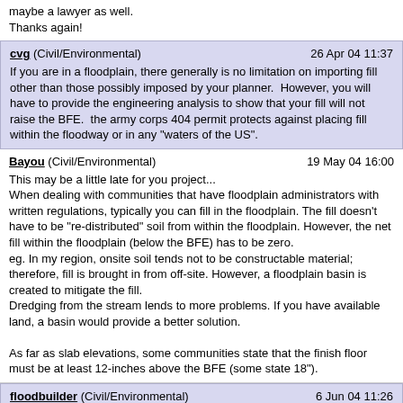maybe a lawyer as well.
Thanks again!
cvg (Civil/Environmental)   26 Apr 04 11:37
If you are in a floodplain, there generally is no limitation on importing fill other than those possibly imposed by your planner.  However, you will have to provide the engineering analysis to show that your fill will not raise the BFE.  the army corps 404 permit protects against placing fill within the floodway or in any "waters of the US".
Bayou (Civil/Environmental)   19 May 04 16:00
This may be a little late for you project...
When dealing with communities that have floodplain administrators with written regulations, typically you can fill in the floodplain. The fill doesn't have to be "re-distributed" soil from within the floodplain. However, the net fill within the floodplain (below the BFE) has to be zero.
eg. In my region, onsite soil tends not to be constructable material; therefore, fill is brought in from off-site. However, a floodplain basin is created to mitigate the fill.
Dredging from the stream lends to more problems. If you have available land, a basin would provide a better solution.

As far as slab elevations, some communities state that the finish floor must be at least 12-inches above the BFE (some state 18").
floodbuilder (Civil/Environmental)   6 Jun 04 11:26